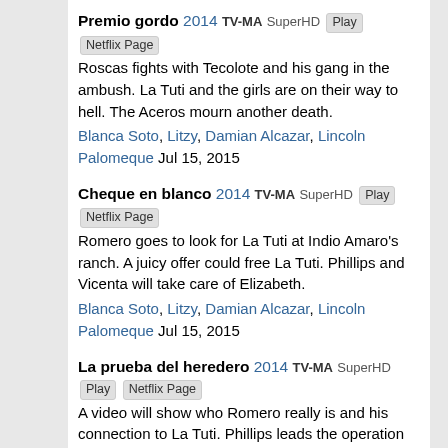Premio gordo 2014 TV-MA SuperHD Play Netflix Page
Roscas fights with Tecolote and his gang in the ambush. La Tuti and the girls are on their way to hell. The Aceros mourn another death.
Blanca Soto, Litzy, Damian Alcazar, Lincoln Palomeque Jul 15, 2015
Cheque en blanco 2014 TV-MA SuperHD Play Netflix Page
Romero goes to look for La Tuti at Indio Amaro's ranch. A juicy offer could free La Tuti. Phillips and Vicenta will take care of Elizabeth.
Blanca Soto, Litzy, Damian Alcazar, Lincoln Palomeque Jul 15, 2015
La prueba del heredero 2014 TV-MA SuperHD Play Netflix Page
A video will show who Romero really is and his connection to La Tuti. Phillips leads the operation to trap Indira but it doesn't go according to plan.
Blanca Soto, Litzy, Damian Alcazar, Lincoln Palomeque Jul 15, 2015
Un rehén para escapar 2014 TV-MA SuperHD Play Netflix Page